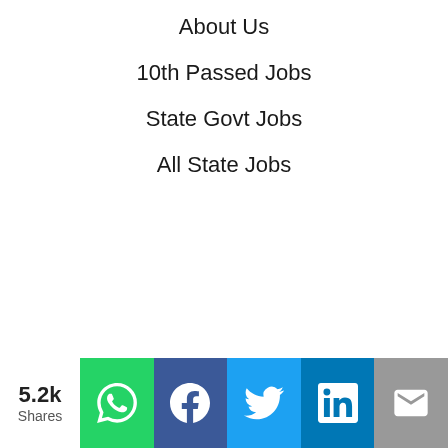About Us
10th Passed Jobs
State Govt Jobs
All State Jobs
5.2k Shares — WhatsApp, Facebook, Twitter, LinkedIn, Email share buttons